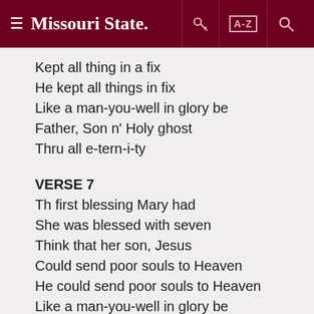Missouri State [navigation header]
Kept all thing in a fix
He kept all things in fix
Like a man-you-well in glory be
Father, Son n' Holy ghost
Thru all e-tern-i-ty
VERSE 7
Th first blessing Mary had
She was blessed with seven
Think that her son, Jesus
Could send poor souls to Heaven
He could send poor souls to Heaven
Like a man-you-well in glory be
Father, Son n' Holy ghost
Thru all e-tern-i-ty